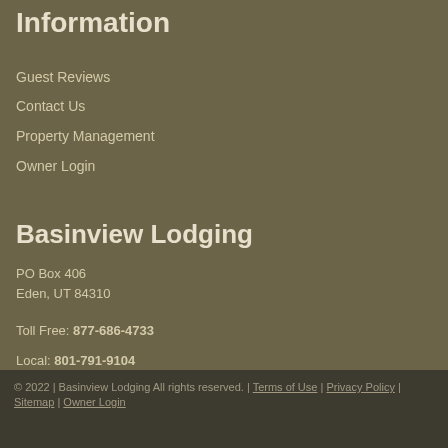Information
Guest Reviews
Contact Us
Property Management
Owner Login
Basinview Lodging
PO Box 406
Eden, UT 84310
Toll Free: 877-686-4733
Local: 801-791-9104
greg@basinviewlodging.com
© 2022 | Basinview Lodging All rights reserved. | Terms of Use | Privacy Policy | Sitemap | Owner Login